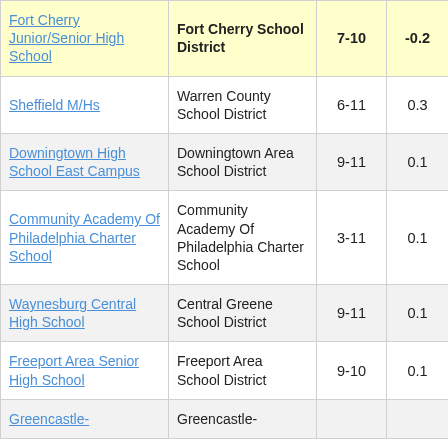| School | District | Grades | Score | (more) |
| --- | --- | --- | --- | --- |
| Fort Cherry Junior/Senior High School | Fort Cherry School District | 7-10 | -0.2 | 3 |
| Sheffield M/Hs | Warren County School District | 6-11 | 0.3 | 4 |
| Downingtown High School East Campus | Downingtown Area School District | 9-11 | 0.1 | - |
| Community Academy Of Philadelphia Charter School | Community Academy Of Philadelphia Charter School | 3-11 | 0.1 | - |
| Waynesburg Central High School | Central Greene School District | 9-11 | 0.1 | - |
| Freeport Area Senior High School | Freeport Area School District | 9-10 | 0.1 | - |
| Greencastle- | Greencastle- |  |  |  |